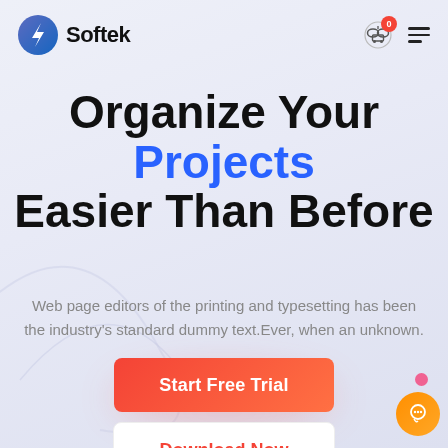[Figure (logo): Softek logo with blue lightning bolt circle icon and bold 'Softek' text]
[Figure (other): Shopping cart icon with red badge showing 0, and hamburger menu icon]
Organize Your Projects Easier Than Before
Web page editors of the printing and typesetting has been the industry's standard dummy text.Ever, when an unknown.
[Figure (other): Orange/red gradient 'Start Free Trial' button]
[Figure (other): White 'Download Now' button with red text]